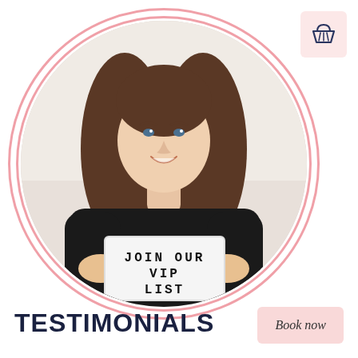[Figure (photo): A smiling woman with long brown hair wearing a black top, holding a white lightbox sign reading 'JOIN OUR VIP LIST', displayed inside a circular frame with pink double-ring border.]
[Figure (illustration): Shopping basket icon on a light pink rounded square background, positioned top-right corner.]
TESTIMONIALS
Book now